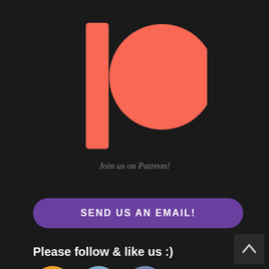[Figure (logo): Patreon logo — a coral/salmon colored vertical rectangle (the 'l') and a large circle (the 'o') on a dark background]
Join us on Patreon!
SEND US AN EMAIL!
Please follow & like us :)
[Figure (illustration): Three social media icons: RSS feed (orange/yellow circle), Twitter bird (blue circle), Facebook 'f' (blue circle)]